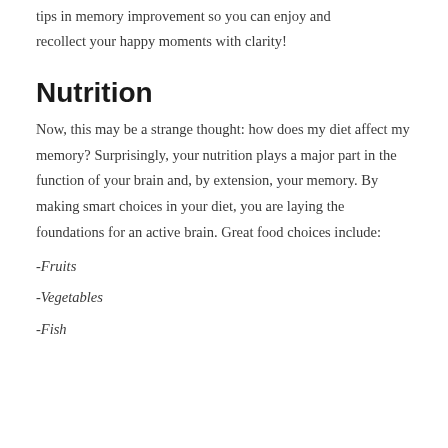tips in memory improvement so you can enjoy and recollect your happy moments with clarity!
Nutrition
Now, this may be a strange thought: how does my diet affect my memory? Surprisingly, your nutrition plays a major part in the function of your brain and, by extension, your memory. By making smart choices in your diet, you are laying the foundations for an active brain. Great food choices include:
-Fruits
-Vegetables
-Fish